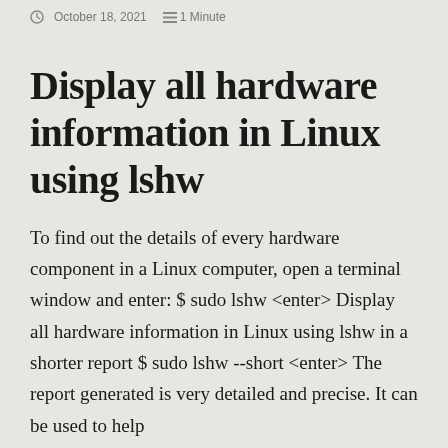October 18, 2021  1 Minute
Display all hardware information in Linux using lshw
To find out the details of every hardware component in a Linux computer, open a terminal window and enter: $ sudo lshw <enter> Display all hardware information in Linux using lshw in a shorter report $ sudo lshw --short <enter> The report generated is very detailed and precise. It can be used to help